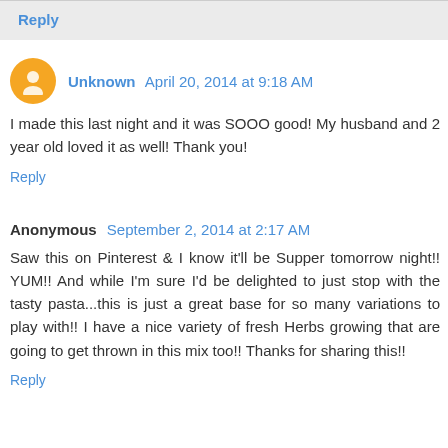Reply
Unknown  April 20, 2014 at 9:18 AM
I made this last night and it was SOOO good! My husband and 2 year old loved it as well! Thank you!
Reply
Anonymous  September 2, 2014 at 2:17 AM
Saw this on Pinterest & I know it'll be Supper tomorrow night!! YUM!! And while I'm sure I'd be delighted to just stop with the tasty pasta...this is just a great base for so many variations to play with!! I have a nice variety of fresh Herbs growing that are going to get thrown in this mix too!! Thanks for sharing this!!
Reply